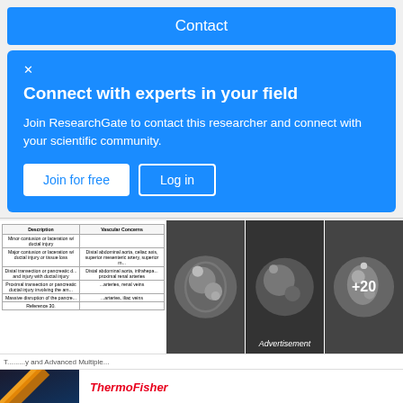Contact
Connect with experts in your field
Join ResearchGate to contact this researcher and connect with your scientific community.
Join for free
Log in
[Figure (table-as-image): Partial view of a medical table showing Description and Vascular Concerns columns with injury classifications]
[Figure (photo): CT scan medical images showing abdominal cross-sections, with +20 more images badge]
Advertisement
[Figure (other): Thermo Fisher Scientific advertisement: Cloning solutions made for advancement, showing cloning-related imagery]